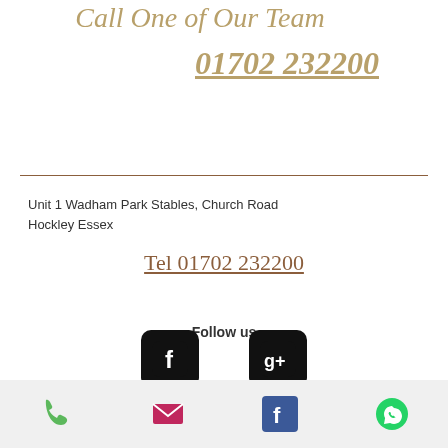Call One of Our Team
01702 232200
Unit 1 Wadham Park Stables, Church Road
Hockley Essex
Tel 01702 232200
Follow us
[Figure (logo): Facebook and Google+ social media icons in black rounded square buttons]
© 2016 Vicarage Marquees Ltd
Designed By Paul Marks
[Figure (infographic): Bottom mobile navigation bar with phone, email, Facebook, and WhatsApp icons]